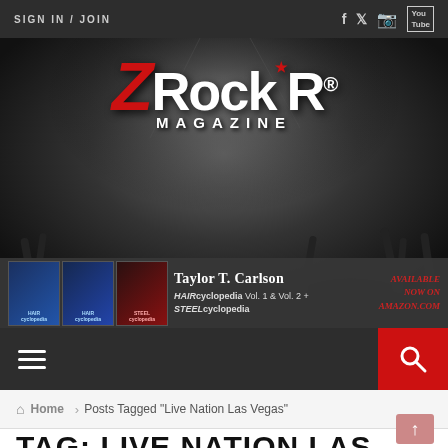SIGN IN / JOIN
[Figure (logo): ZRockR Magazine logo with red Z, white RockR text, red star, and MAGAZINE subtitle on dark concert crowd background]
[Figure (infographic): Taylor T. Carlson advertisement banner with HAIRcyclopedia Vol. 1 & Vol. 2 + STEELcyclopedia books, Available Now on Amazon.com]
Home > Posts Tagged "Live Nation Las Vegas"
TAG: LIVE NATION LAS